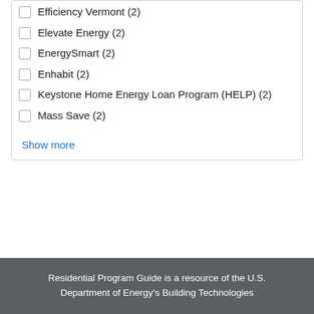Efficiency Vermont (2)
Elevate Energy (2)
EnergySmart (2)
Enhabit (2)
Keystone Home Energy Loan Program (HELP) (2)
Mass Save (2)
Show more
Residential Program Guide is a resource of the U.S. Department of Energy's Building Technologies